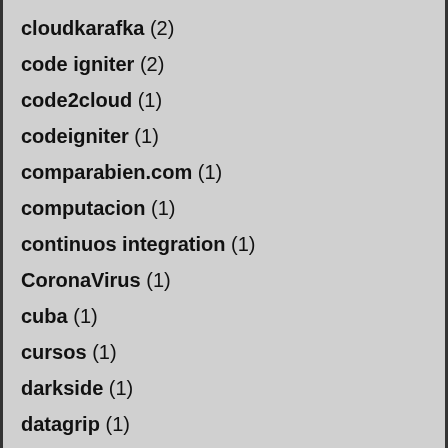cloudkarafka (2)
code igniter (2)
code2cloud (1)
codeigniter (1)
comparabien.com (1)
computacion (1)
continuos integration (1)
CoronaVirus (1)
cuba (1)
cursos (1)
darkside (1)
datagrip (1)